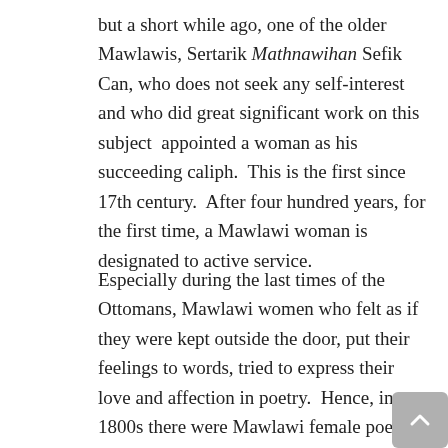but a short while ago, one of the older Mawlawis, Sertarik Mathnawihan Sefik Can, who does not seek any self-interest and who did great significant work on this subject  appointed a woman as his succeeding caliph.  This is the first since 17th century.  After four hundred years, for the first time, a Mawlawi woman is designated to active service.
Especially during the last times of the Ottomans, Mawlawi women who felt as if they were kept outside the door, put their feelings to words, tried to express their love and affection in poetry.  Hence, in 1800s there were Mawlawi female poets that had their own Divan (collection of poems).   Amongst these poets, one of the most important one is certainly Leyla Hanim, who is the niece of Kececizade Izzet Molla.  Sultan Mahmut II